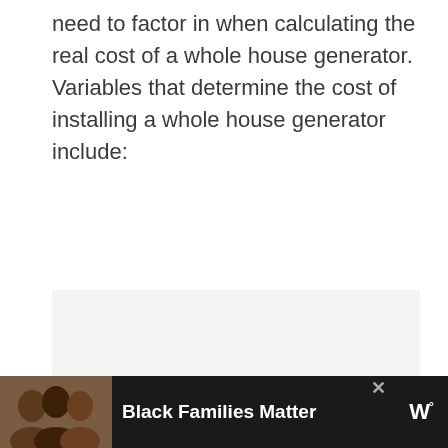need to factor in when calculating the real cost of a whole house generator. Variables that determine the cost of installing a whole house generator include:
[Figure (photo): Large light gray placeholder image area with three small gray dots near the bottom center, indicating an image carousel or slideshow]
[Figure (screenshot): Advertisement banner at the bottom of the page with dark background. Shows a photo of three smiling people on the left, text 'Black Families Matter' in white bold text in the center, a close (x) button, and a logo on the right.]